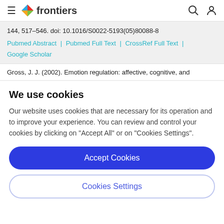frontiers (navigation bar with hamburger menu, logo, search and user icons)
144, 517–546. doi: 10.1016/S0022-5193(05)80088-8
Pubmed Abstract | Pubmed Full Text | CrossRef Full Text | Google Scholar
Gross, J. J. (2002). Emotion regulation: affective, cognitive, and
We use cookies
Our website uses cookies that are necessary for its operation and to improve your experience. You can review and control your cookies by clicking on "Accept All" or on "Cookies Settings".
Accept Cookies
Cookies Settings